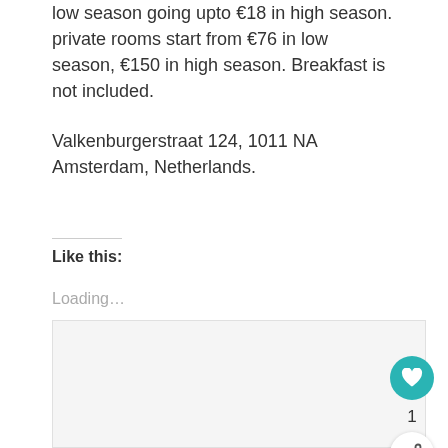low season going upto €18 in high season. private rooms start from €76 in low season, €150 in high season. Breakfast is not included.
Valkenburgerstraat 124, 1011 NA Amsterdam, Netherlands.
Like this:
Loading...
[Figure (other): WordPress like/share widget area with a heart button (teal), count of 1, and share button]